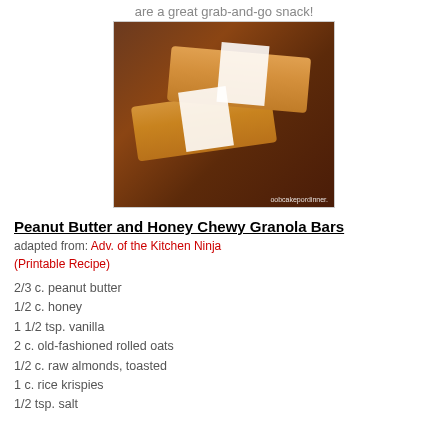are a great grab-and-go snack!
[Figure (photo): Photo of peanut butter honey chewy granola bars wrapped in white paper with twine, on a wooden surface. Watermark: oobcakepordinner.]
Peanut Butter and Honey Chewy Granola Bars
adapted from: Adv. of the Kitchen Ninja
(Printable Recipe)
2/3 c. peanut butter
1/2 c. honey
1 1/2 tsp. vanilla
2 c. old-fashioned rolled oats
1/2 c. raw almonds, toasted
1 c. rice krispies
1/2 tsp. salt